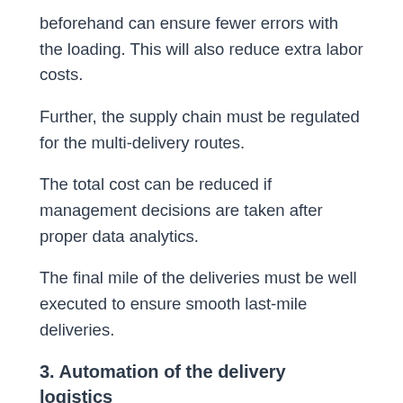beforehand can ensure fewer errors with the loading. This will also reduce extra labor costs.
Further, the supply chain must be regulated for the multi-delivery routes.
The total cost can be reduced if management decisions are taken after proper data analytics.
The final mile of the deliveries must be well executed to ensure smooth last-mile deliveries.
3. Automation of the delivery logistics
Last-mile delivery logistics needs to evolve and upgrade according to the latest trends to ensure a strong position in the market.